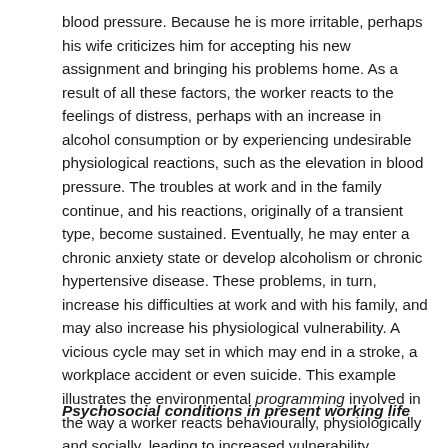blood pressure. Because he is more irritable, perhaps his wife criticizes him for accepting his new assignment and bringing his problems home. As a result of all these factors, the worker reacts to the feelings of distress, perhaps with an increase in alcohol consumption or by experiencing undesirable physiological reactions, such as the elevation in blood pressure. The troubles at work and in the family continue, and his reactions, originally of a transient type, become sustained. Eventually, he may enter a chronic anxiety state or develop alcoholism or chronic hypertensive disease. These problems, in turn, increase his difficulties at work and with his family, and may also increase his physiological vulnerability. A vicious cycle may set in which may end in a stroke, a workplace accident or even suicide. This example illustrates the environmental programming involved in the way a worker reacts behaviourally, physiologically and socially, leading to increased vulnerability, impaired health and even death.
Psychosocial conditions in present working life